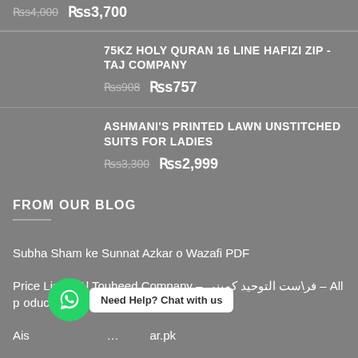Rs4,000 (strikethrough) Rs3,700
75KZ HOLY QURAN 16 LINE HAFIZI ZIP - TAJ COMPANY | Rs908 (strikethrough) Rs757
ASHMANI'S PRINTED LAWN UNSTITCHED SUITS FOR LADIES | Rs3,300 (strikethrough) Rs2,999
FROM OUR BLOG
Subha Sham ke Sunnat Azkar o Wazafi PDF
Price List of Al Touheed Company – فرست التوحید کمپنی – All products are available at wholesale rate
Aisha… .ar.pk
8 Ways to Control Your Anger Issues
[Figure (other): WhatsApp chat widget with green circle icon and 'Need Help? Chat with us' bubble]